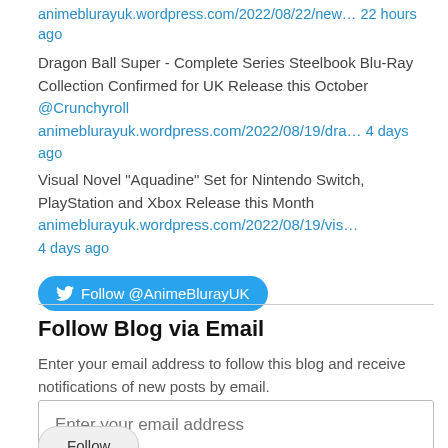animeblurayuk.wordpress.com/2022/08/22/new… 22 hours ago
Dragon Ball Super - Complete Series Steelbook Blu-Ray Collection Confirmed for UK Release this October @Crunchyroll animeblurayuk.wordpress.com/2022/08/19/dra… 4 days ago
Visual Novel "Aquadine" Set for Nintendo Switch, PlayStation and Xbox Release this Month animeblurayuk.wordpress.com/2022/08/19/vis… 4 days ago
Follow @AnimeBlurayUK
Follow Blog via Email
Enter your email address to follow this blog and receive notifications of new posts by email.
Enter your email address
Follow